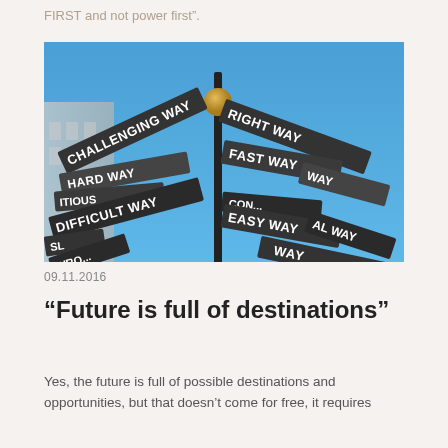FIRST and not power first”.
[Figure (photo): A cluster of directional street signs on a single post against a blue sky. Signs read: CHALLENGING WAY, RIGHT WAY, HARD WAY, FAST WAY, DIFFICULT WAY, EASY WAY, WRONG WAY, and other partially visible signs including AL WAY, SL, and WAY.]
09.11.2016
“Future is full of destinations”
Yes, the future is full of possible destinations and opportunities, but that doesn’t come for free, it requires